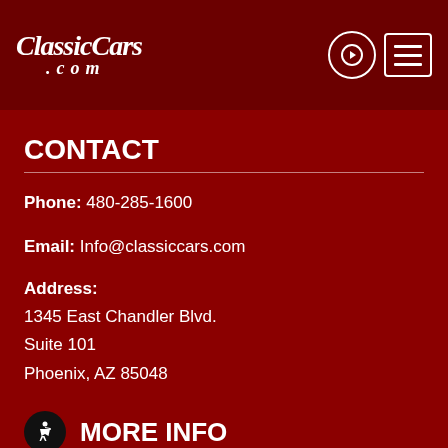ClassicCars.com
CONTACT
Phone: 480-285-1600
Email: Info@classiccars.com
Address:
1345 East Chandler Blvd.
Suite 101
Phoenix, AZ 85048
MORE INFO
Help Center